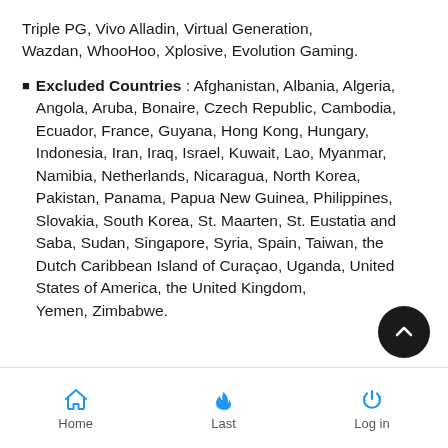Triple PG, Vivo Alladin, Virtual Generation, Wazdan, WhooHoo, Xplosive, Evolution Gaming.
■ Excluded Countries : Afghanistan, Albania, Algeria, Angola, Aruba, Bonaire, Czech Republic, Cambodia, Ecuador, France, Guyana, Hong Kong, Hungary, Indonesia, Iran, Iraq, Israel, Kuwait, Lao, Myanmar, Namibia, Netherlands, Nicaragua, North Korea, Pakistan, Panama, Papua New Guinea, Philippines, Slovakia, South Korea, St. Maarten, St. Eustatia and Saba, Sudan, Singapore, Syria, Spain, Taiwan, the Dutch Caribbean Island of Curaçao, Uganda, United States of America, the United Kingdom, Yemen, Zimbabwe.
Home  Last  Log in